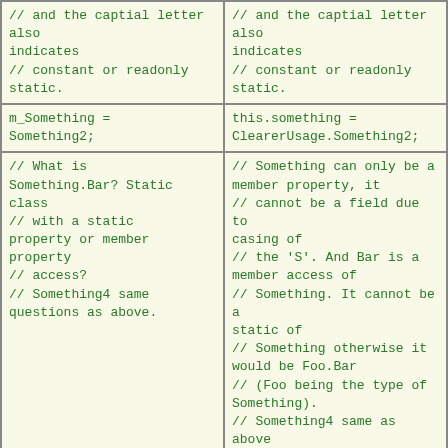| // and the captial letter also
indicates
// constant or readonly
static. | // and the captial letter also
indicates
// constant or readonly
static. |
| m_Something =
Something2; | this.something =
ClearerUsage.Something2; |
| // What is
Something.Bar? Static class
// with a static
property or member property
// access?
// Something4 same
questions as above. | // Something can only be a
member property, it
// cannot be a field due to
casing of
// the 'S'. And Bar is a
member access of
// Something. It cannot be a
static of
// Something otherwise it
would be Foo.Bar
// (Foo being the type of
Something).
// Something4 same as above
Something2,3,5. |
| Something.Bar =
Something4; | this.Something.Bar =
ClearerUsage.Something4; |
| // Could be a instance
or static method. | // This can only be a member
method. |
| SomethingElse(); | this.SomethingElse(); |